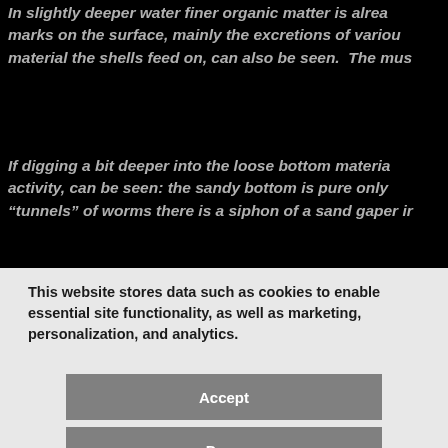In slightly deeper water finer organic matter is already marks on the surface, mainly the excretions of various material the shells feed on, can also be seen. The mus
If digging a bit deeper into the loose bottom materia activity, can be seen: the sandy bottom is pure only “tunnels” of worms there is a siphon of a sand gaper ir
This website stores data such as cookies to enable essential site functionality, as well as marketing, personalization, and analytics.
Accept
Deny